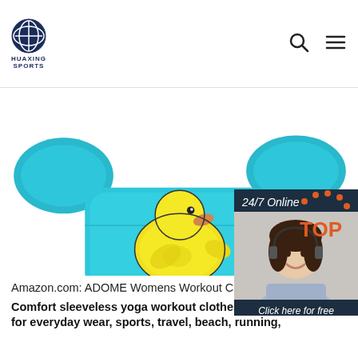HUAXING SPORTS
[Figure (photo): Blue children's swim vest/floatie with yellow rubber duck print, shown with arm floats. A 24/7 online chat widget with a female agent wearing a headset is overlaid on the right, with 'Click here for free chat!' and a QUOTATION button.]
Amazon.com: ADOME Womens Workout Clothes Mesh
Comfort sleeveless yoga workout clothes, perfect for everyday wear, sports, travel, beach, running,